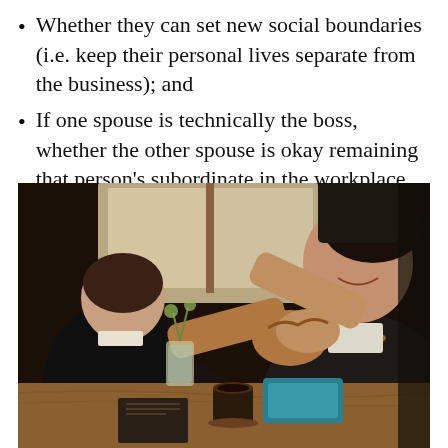Whether they can set new social boundaries (i.e. keep their personal lives separate from the business); and
If one spouse is technically the boss, whether the other spouse is okay remaining that person's subordinate in the workplace
[Figure (photo): Two people shaking hands across a cafe table with coffee cups and papers on the table]